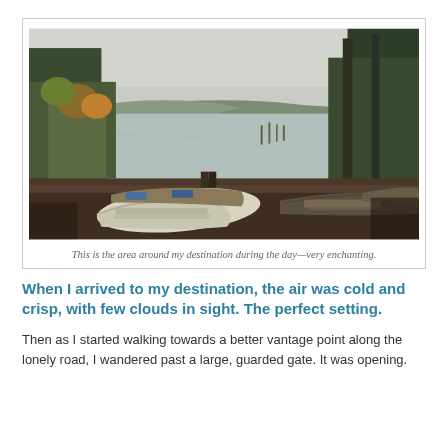[Figure (photo): Autumn lakeside scene with several wooden rowboats pulled up on a rocky shore in the foreground, calm reflective lake in the middle, and trees with fall foliage on the banks in the background under an overcast sky.]
This is the area around my destination during the day—very enchanting.
When I arrived to my destination, the air was cold and crisp, with few clouds in sight. The perfect setting.
Then as I started walking towards a better vantage point along the lonely road, I wandered past a large, guarded gate. It was opening.